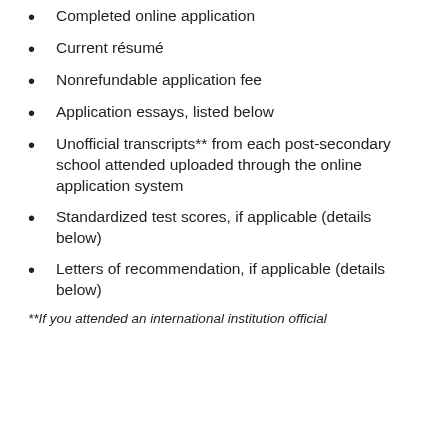Completed online application
Current résumé
Nonrefundable application fee
Application essays, listed below
Unofficial transcripts** from each post-secondary school attended uploaded through the online application system
Standardized test scores, if applicable (details below)
Letters of recommendation, if applicable (details below)
**If you attended an international institution official